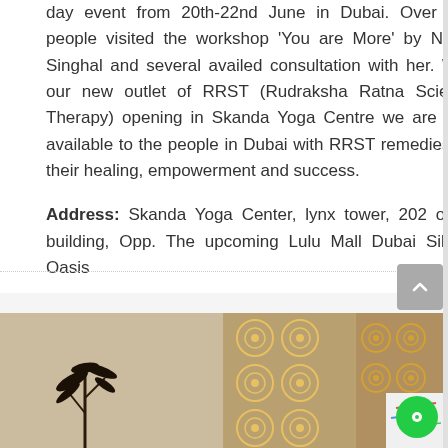day event from 20th-22nd June in Dubai. Over 200 people visited the workshop 'You are More' by Neeta Singhal and several availed consultation with her. With our new outlet of RRST (Rudraksha Ratna Science Therapy) opening in Skanda Yoga Centre we are now available to the people in Dubai with RRST remedies for their healing, empowerment and success.
Address: Skanda Yoga Center, lynx tower, 202 office building, Opp. The upcoming Lulu Mall Dubai Silicon Oasis
[Figure (photo): Photo strip showing three images side by side: left image shows a plant silhouette against a beige wall, middle and right images show decorative circular patterned panels or artwork in brown/orange tones. A white paper or artwork is partially visible in the bottom right, and a green chat/messenger button overlays the bottom right corner.]